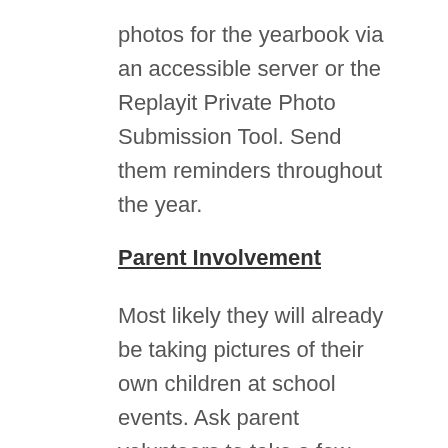photos for the yearbook via an accessible server or the Replayit Private Photo Submission Tool. Send them reminders throughout the year.
Parent Involvement
Most likely they will already be taking pictures of their own children at school events. Ask parent volunteers to take a few shots that include more students for yearbook use.
Candids Are King
Parents have already seen the professional portraits and students remember much more about the school year than just photo day.